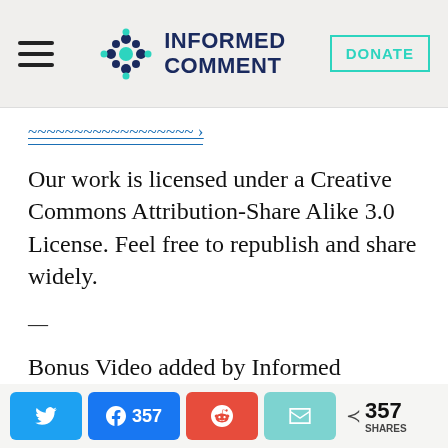INFORMED COMMENT
Our work is licensed under a Creative Commons Attribution-Share Alike 3.0 License. Feel free to republish and share widely.
—
Bonus Video added by Informed Comment:
Al Jazeera English: “Dozens of civilians
357 SHARES